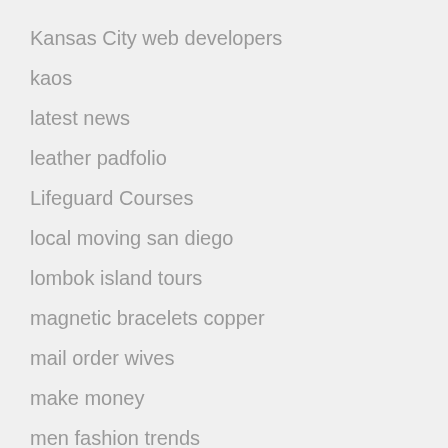Kansas City web developers
kaos
latest news
leather padfolio
Lifeguard Courses
local moving san diego
lombok island tours
magnetic bracelets copper
mail order wives
make money
men fashion trends
mens hip hop clothing
money blog